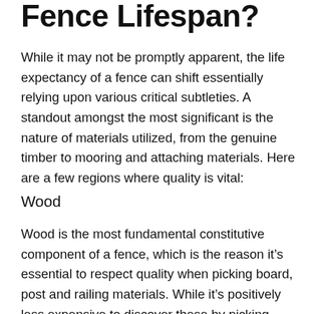Fence Lifespan?
While it may not be promptly apparent, the life expectancy of a fence can shift essentially relying upon various critical subtleties. A standout amongst the most significant is the nature of materials utilized, from the genuine timber to mooring and attaching materials. Here are a few regions where quality is vital:
Wood
Wood is the most fundamental constitutive component of a fence, which is the reason it’s essential to respect quality when picking board, post and railing materials. While it’s positively less expensive to discover these by picking through remains at a timber yard, strong, thick-cut wood that comes legitimately from a factory will last any longer because of its better processability and strength.